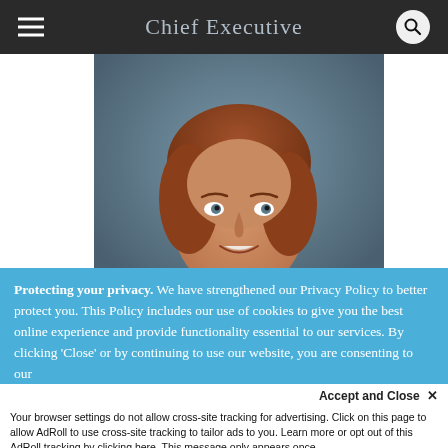Chief Executive
[Figure (photo): Professional headshot of a middle-aged woman with short reddish-brown hair, wearing a dark jacket, smiling, against a muted blue-gray background.]
Protecting your privacy. We have strengthened our Privacy Policy to better protect you. This Policy includes our use of cookies to give you the best online experience and provide functionality essential to our services. By clicking 'Close' or by continuing to use our website, you are consenting to our
Accept and Close ×
Your browser settings do not allow cross-site tracking for advertising. Click on this page to allow AdRoll to use cross-site tracking to tailor ads to you. Learn more or opt out of this AdRoll tracking by clicking here. This message only appears once.